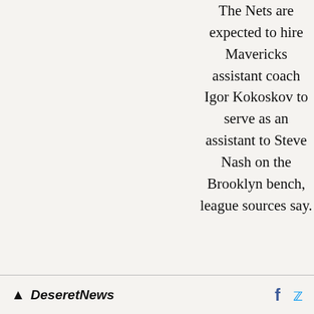The Nets are expected to hire Mavericks assistant coach Igor Kokoskov to serve as an assistant to Steve Nash on the Brooklyn bench, league sources say.
— J Ma u rc n Stei e n 4 (@ , The 2 Stei 0 nLi 2 ne) 2
Nash had pursued Kokoskov when he first got the job
Deseret News